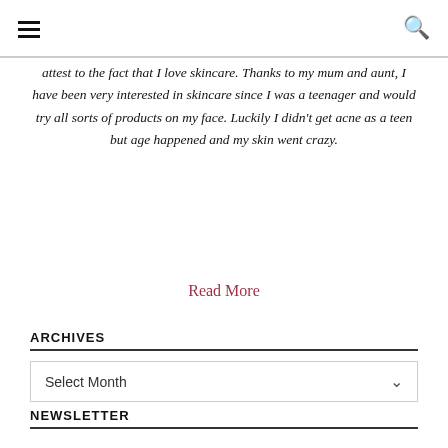≡ [hamburger menu] [search icon]
attest to the fact that I love skincare. Thanks to my mum and aunt, I have been very interested in skincare since I was a teenager and would try all sorts of products on my face. Luckily I didn't get acne as a teen but age happened and my skin went crazy.
Read More
ARCHIVES
Select Month
NEWSLETTER